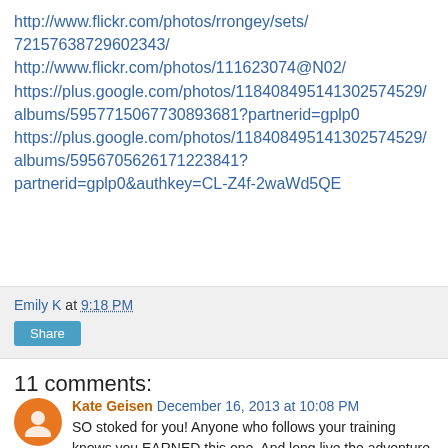http://www.flickr.com/photos/rrongey/sets/72157638729602343/
http://www.flickr.com/photos/111623074@N02/
https://plus.google.com/photos/118408495141302574529/albums/5957715067730893681?partnerid=gplp0
https://plus.google.com/photos/118408495141302574529/albums/5956705626171223841?partnerid=gplp0&authkey=CL-Z4f-2waWd5QE
Emily K at 9:18 PM
Share
11 comments:
Kate Geisen  December 16, 2013 at 10:08 PM
SO stoked for you! Anyone who follows your training knows you EARNED this one. And long live the adventure mutt! I think we're having more fun than anyone else out there. :)